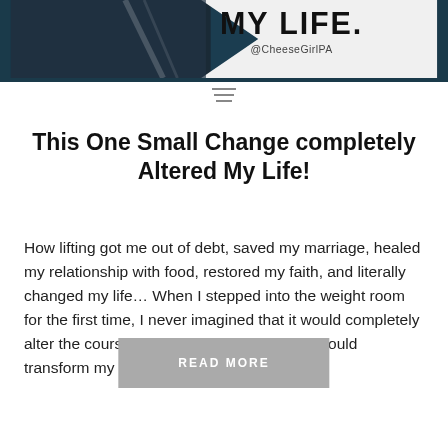[Figure (screenshot): Dark teal/navy header image with large bold white text 'MY LIFE.' and '@CheeseGirlPA' below it, with a partial portrait photo on the left side]
This One Small Change completely Altered My Life!
How lifting got me out of debt, saved my marriage, healed my relationship with food, restored my faith, and literally changed my life... When I stepped into the weight room for the first time, I never imagined that it would completely alter the course of my life. While I hoped it would transform my body,...
READ MORE